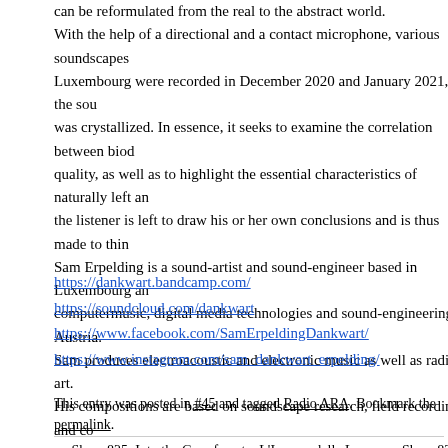can be reformulated from the real to the abstract world.
With the help of a directional and a contact microphone, various soundscapes Luxembourg were recorded in December 2020 and January 2021, and the sou was crystallized. In essence, it seeks to examine the correlation between biod quality, as well as to highlight the essential characteristics of naturally left an the listener is left to draw his or her own conclusions and is thus made to thin Sam Erpelding is a sound-artist and sound-engineer based in Luxembourg an computermusic, digital media technologies and sound-engineering in Austria. Sam produces electroacoustic and electronic music as well as radio-art.
His compositions are based on soundscape research, field recordings, and co
https://dankwart.bandcamp.com/
https://soundcloud.com/dankwart
https://www.facebook.com/SamErpeldingDankwart/
https://www.instagram.com/sam_dankwart_erpelding/
This entry was posted in #45 and tagged Radio ARA. Bookmark the permalink.
← Show 825: Into the Gray forest – L'Impero della Luce (Usmaradio)
Show 827: T